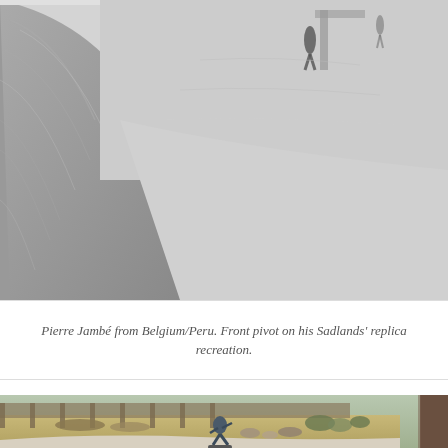[Figure (photo): Black and white photograph of a skateboarder performing a front pivot on a large snow-covered ramp or halfpipe. A person stands in the background on the snowy surface. The image has a dramatic perspective showing the steep curved wall of snow.]
Pierre Jambé from Belgium/Peru. Front pivot on his Sadlands' replica recreation.
[Figure (photo): Color photograph of a skateboarder performing a trick in a concrete bowl or pool surrounded by natural landscape with logs, rocks, shrubs, and a wooden fence in the background. A large tree trunk is visible on the right edge.]